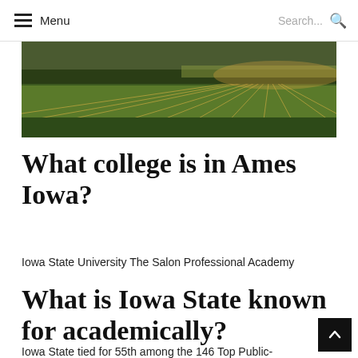Menu  Search...
[Figure (photo): Aerial or wide-angle photo of a green agricultural field with crop rows extending to the horizon under warm golden light.]
What college is in Ames Iowa?
Iowa State University The Salon Professional Academy
What is Iowa State known for academically?
Iowa State tied for 55th among the 146 Top Public-National